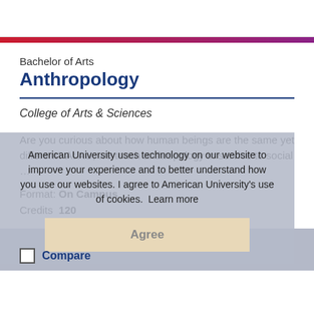Bachelor of Arts
Anthropology
College of Arts & Sciences
Are you curious about how human beings are the same yet different? At AU, we teach anthropology in service to social …
Format: On Campus
Credits 120
American University uses technology on our website to improve your experience and to better understand how you use our websites. I agree to American University's use of cookies. Learn more
Agree
Compare